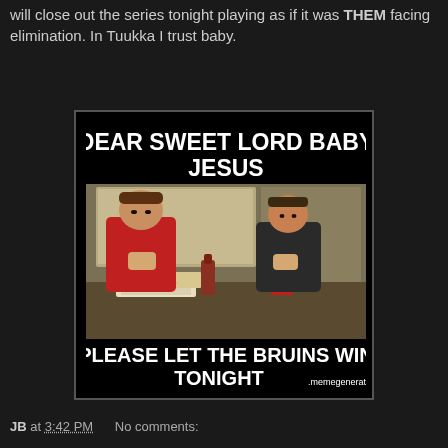will close out the series tonight playing as if it was THEM facing elimination. In Tuukka I trust baby.
[Figure (photo): Meme image with text 'DEAR SWEET LORD BABY JESUS' at top, a movie still showing two men praying at a dinner table, and text 'PLEASE LET THE BRUINS WIN TONIGHT' at bottom with memegenerator.net watermark]
JB at 3:42 PM   No comments: